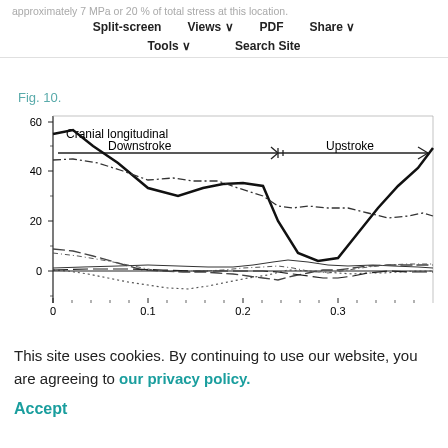approximately 7 MPa or 20 % of total stress at this location.
Split-screen   Views   PDF   Share
Tools   Search Site
Fig. 10.
[Figure (continuous-plot): Line chart showing Cranial longitudinal stress over time (x-axis 0 to 0.3). Contains multiple lines (solid, dashed, dotted, dash-dot) representing different stress components during Downstroke and Upstroke phases. Y-axis ranges from approximately -10 to 60. The bold solid line starts near 50, drops to ~30, rises to ~35, then drops to ~10 before sharply rising to ~47 at x=0.35. Other lines show various patterns near zero or moderately positive values.]
This site uses cookies. By continuing to use our website, you are agreeing to our privacy policy.
Accept